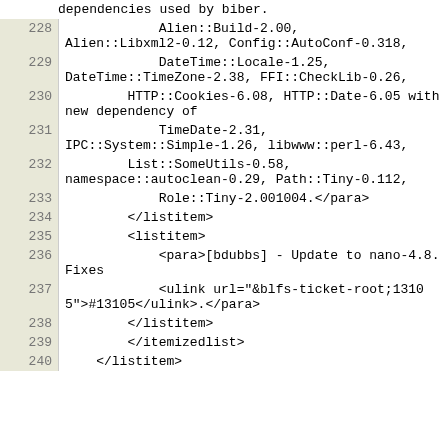dependencies used by biber.
228    Alien::Build-2.00, Alien::Libxml2-0.12, Config::AutoConf-0.318,
229    DateTime::Locale-1.25, DateTime::TimeZone-2.38, FFI::CheckLib-0.26,
230    HTTP::Cookies-6.08, HTTP::Date-6.05 with new dependency of
231    TimeDate-2.31, IPC::System::Simple-1.26, libwww::perl-6.43,
232    List::SomeUtils-0.58, namespace::autoclean-0.29, Path::Tiny-0.112,
233    Role::Tiny-2.001004.</para>
234    </listitem>
235    <listitem>
236    <para>[bdubbs] - Update to nano-4.8. Fixes
237    <ulink url="&blfs-ticket-root;13105">#13105</ulink>.</para>
238    </listitem>
239    </itemizedlist>
240    </listitem>